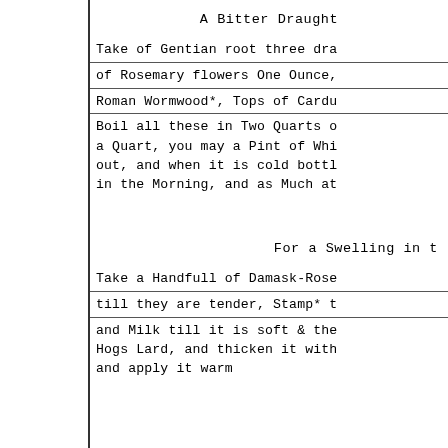A Bitter Draught
Take of Gentian root three dra
of Rosemary flowers One Ounce,
Roman Wormwood*, Tops of Cardu
Boil all these in Two Quarts o a Quart, you may a Pint of Whi out, and when it is cold bottl in the Morning, and as Much at
For a Swelling in t
Take a Handfull of Damask-Rose
till they are tender, Stamp* t
and Milk till it is soft & the Hogs Lard, and thicken it with and apply it warm